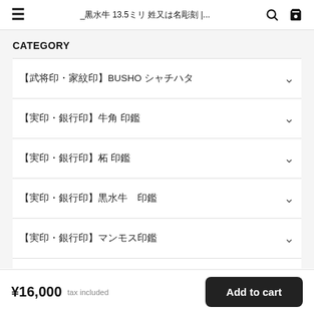黒水牛 13.5ミリ 姓又は名彫刻 |...
CATEGORY
【武将印・家紋印】BUSHO シャチハタ
【実印・銀行印】牛角 印鑑
【実印・銀行印】柘 印鑑
【実印・銀行印】黒水牛　印鑑
【実印・銀行印】マンモス印鑑
【シャチハタ】N9
¥16,000 tax included  Add to cart